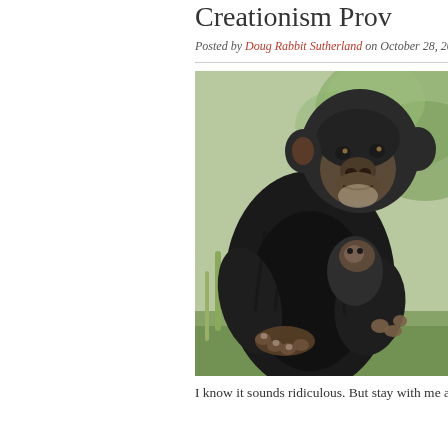Creationism Prov…
Posted by Doug Rabbit Sutherland on October 28, 2019 ·
[Figure (photo): A chimpanzee holding a smaller chimp or object, sitting in green grass with blurred green foliage background. The chimp has dark fur and is photographed in a natural outdoor setting.]
I know it sounds ridiculous. But stay with me a w…